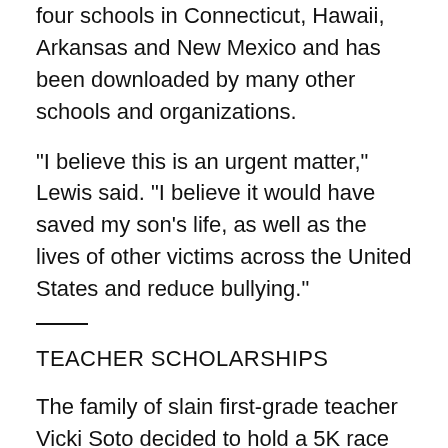four schools in Connecticut, Hawaii, Arkansas and New Mexico and has been downloaded by many other schools and organizations.
"I believe this is an urgent matter," Lewis said. "I believe it would have saved my son's life, as well as the lives of other victims across the United States and reduce bullying."
TEACHER SCHOLARSHIPS
The family of slain first-grade teacher Vicki Soto decided to hold a 5K race in her hometown of Stratford, Connecticut, annually around her November birthday to celebrate her life.
In 2013, about 500 runners took part, many wearing